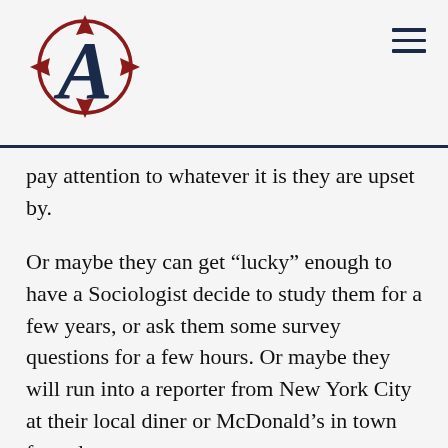The Atlantic logo and hamburger menu
pay attention to whatever it is they are upset by.
Or maybe they can get “lucky” enough to have a Sociologist decide to study them for a few years, or ask them some survey questions for a few hours. Or maybe they will run into a reporter from New York City at their local diner or McDonald’s in town for a day to get a story.